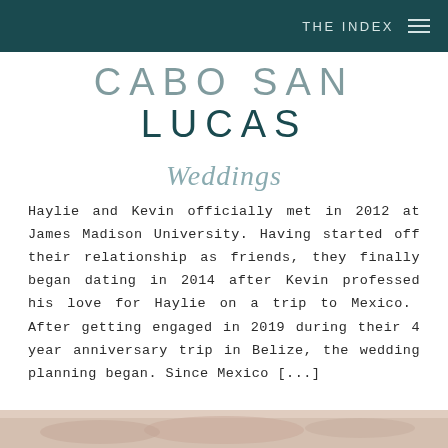THE INDEX
CABO SAN LUCAS
Weddings
Haylie and Kevin officially met in 2012 at James Madison University. Having started off their relationship as friends, they finally began dating in 2014 after Kevin professed his love for Haylie on a trip to Mexico. After getting engaged in 2019 during their 4 year anniversary trip in Belize, the wedding planning began. Since Mexico [...]
[Figure (photo): Wedding photo strip at bottom of page]